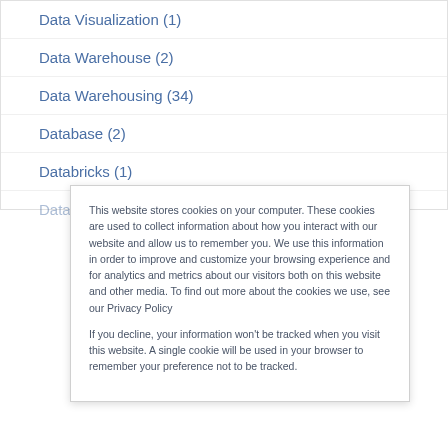Data Visualization (1)
Data Warehouse (2)
Data Warehousing (34)
Database (2)
Databricks (1)
Databricks Delta Lake (1)
This website stores cookies on your computer. These cookies are used to collect information about how you interact with our website and allow us to remember you. We use this information in order to improve and customize your browsing experience and for analytics and metrics about our visitors both on this website and other media. To find out more about the cookies we use, see our Privacy Policy
If you decline, your information won't be tracked when you visit this website. A single cookie will be used in your browser to remember your preference not to be tracked.